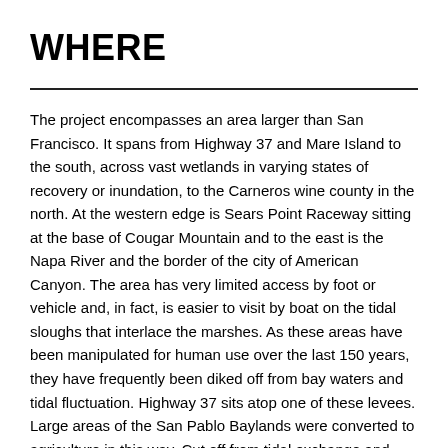WHERE
The project encompasses an area larger than San Francisco. It spans from Highway 37 and Mare Island to the south, across vast wetlands in varying states of recovery or inundation, to the Carneros wine county in the north. At the western edge is Sears Point Raceway sitting at the base of Cougar Mountain and to the east is the Napa River and the border of the city of American Canyon. The area has very limited access by foot or vehicle and, in fact, is easier to visit by boat on the tidal sloughs that interlace the marshes. As these areas have been manipulated for human use over the last 150 years, they have frequently been diked off from bay waters and tidal fluctuation. Highway 37 sits atop one of these levees. Large areas of the San Pablo Baylands were converted to agriculture in this way. Cut off from tidal exchange and watershed runoff, they gradually subsided due to soil depletion from farming and lack of natural sediment